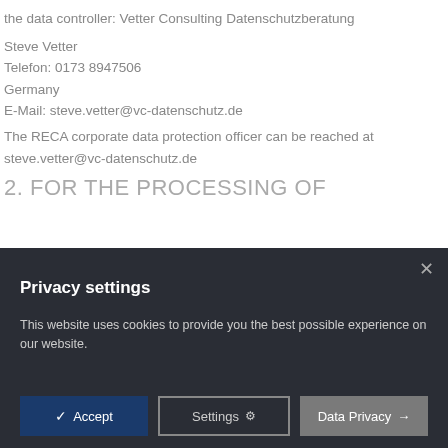the data controller: Vetter Consulting Datenschutzberatung
Steve Vetter
Telefon: 0173 8947506
Germany
E-Mail: steve.vetter@vc-datenschutz.de
The RECA corporate data protection officer can be reached at steve.vetter@vc-datenschutz.de
2. FOR THE PROCESSING OF
Privacy settings
This website uses cookies to provide you the best possible experience on our website.
Accept | Settings | Data Privacy